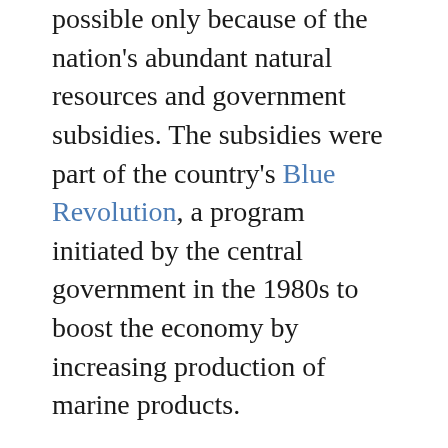possible only because of the nation's abundant natural resources and government subsidies. The subsidies were part of the country's Blue Revolution, a program initiated by the central government in the 1980s to boost the economy by increasing production of marine products.
That rapid development is a double-edged sword in Andhra Pradesh, India's top seafood exporter. Local communities overwhelmingly support aquaculture's expansion, but they also lament the loss of the lake as a source of food and drinking water. Scientists, meanwhile, insist that industry must be curtailed. They point not just to the pollution, but also to the dramatic declines in native fishes and migratory birds. The ecological imbalance will only get worse, they say, if the region's aquaculture is allowed to expand.